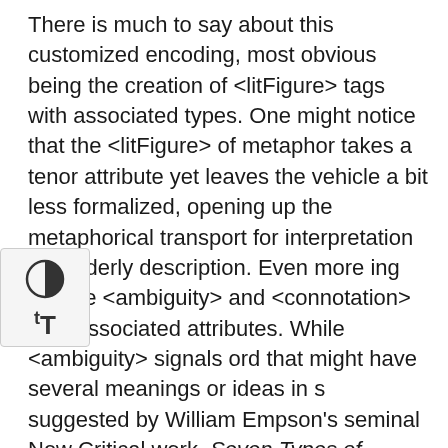There is much to say about this customized encoding, most obvious being the creation of <litFigure> tags with associated types. One might notice that the <litFigure> of metaphor takes a tenor attribute yet leaves the vehicle a bit less formalized, opening up the metaphorical transport for interpretation or readerly description. Even more ing are the <ambiguity> and <connotation> tags associated attributes. While <ambiguity> signals ord that might have several meanings or ideas in s suggested by William Empson's seminal New Critical work, Seven Types of Ambiguity, <connotation> encourages readers to label figurative or tonal meaning beyond a word's literal denotation. Both tags allow the editor to formalize interpretations of nebulous and often subjective meanings.